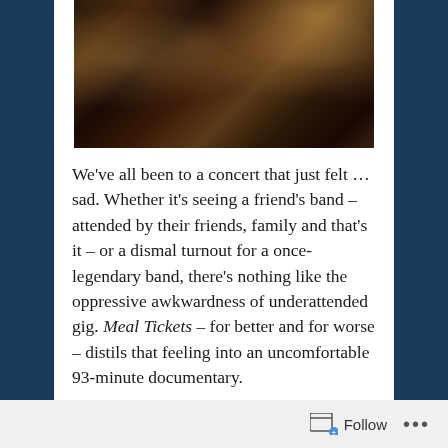[Figure (photo): Group photo of five young people (a band) in a dark bar/venue setting, with colorful lighting in the background. They are posing together closely, some wearing leather jackets.]
We've all been to a concert that just felt … sad. Whether it's seeing a friend's band – attended by their friends, family and that's it – or a dismal turnout for a once-legendary band, there's nothing like the oppressive awkwardness of underattended gig. Meal Tickets – for better and for worse – distils that feeling into an uncomfortable 93-minute documentary.
The film follows the mates of director Mat de Koning: an up-and-coming Australian band called the Screwtop Detonators, and their one-time roadie who sets out on his own path to stardom. For a moment, you
Follow  •••